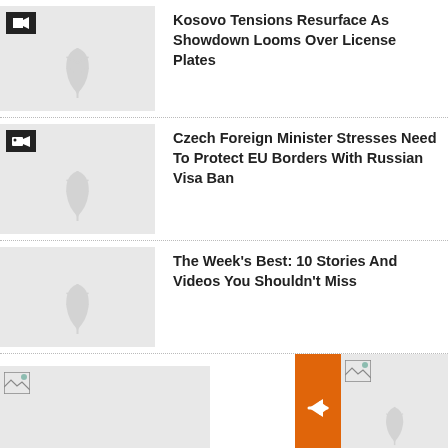[Figure (screenshot): News thumbnail placeholder with video icon]
Kosovo Tensions Resurface As Showdown Looms Over License Plates
[Figure (screenshot): News thumbnail placeholder with video camera icon]
Czech Foreign Minister Stresses Need To Protect EU Borders With Russian Visa Ban
[Figure (screenshot): News thumbnail placeholder]
The Week's Best: 10 Stories And Videos You Shouldn't Miss
[Figure (screenshot): Orange arrow navigation button overlapping news thumbnails]
'It's Not Scary' The Motherland On Ukraine Ra... Russian Childr... Targeted For '... Education